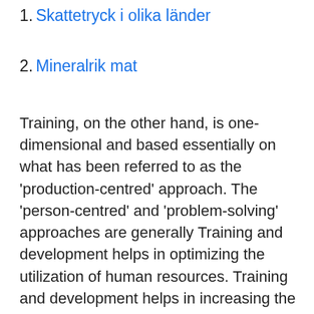1. Skattetryck i olika länder
2. Mineralrik mat
Training, on the other hand, is one-dimensional and based essentially on what has been referred to as the 'production-centred' approach. The 'person-centred' and 'problem-solving' approaches are generally Training and development helps in optimizing the utilization of human resources. Training and development helps in increasing the productivity of the employees. Training and development helps in creating a beeter corporate image. Training and development helps in inculcating the sense of team work,team The following types of training and development methods are generally used: 1. On-the-job training 2. Off-the-job training 2...